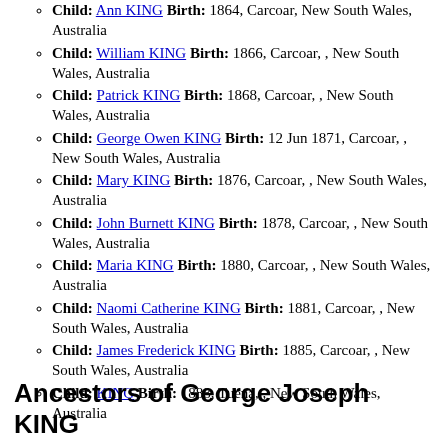Child: Ann KING Birth: 1864, Carcoar, New South Wales, Australia
Child: William KING Birth: 1866, Carcoar, , New South Wales, Australia
Child: Patrick KING Birth: 1868, Carcoar, , New South Wales, Australia
Child: George Owen KING Birth: 12 Jun 1871, Carcoar, , New South Wales, Australia
Child: Mary KING Birth: 1876, Carcoar, , New South Wales, Australia
Child: John Burnett KING Birth: 1878, Carcoar, , New South Wales, Australia
Child: Maria KING Birth: 1880, Carcoar, , New South Wales, Australia
Child: Naomi Catherine KING Birth: 1881, Carcoar, , New South Wales, Australia
Child: James Frederick KING Birth: 1885, Carcoar, , New South Wales, Australia
Child: KING Birth: 1888, Tuena, , New South Wales, Australia
Ancestors of George Joseph KING